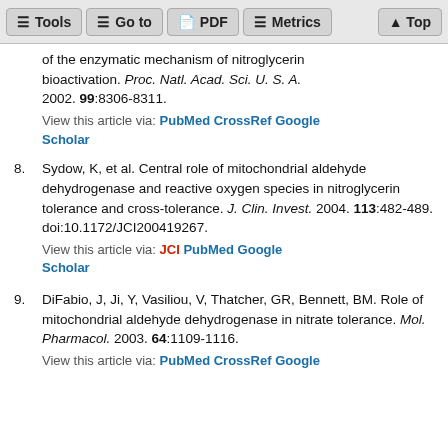Tools | Go to | PDF | Metrics | Top
of the enzymatic mechanism of nitroglycerin bioactivation. Proc. Natl. Acad. Sci. U. S. A. 2002. 99:8306-8311. View this article via: PubMed CrossRef Google Scholar
8. Sydow, K, et al. Central role of mitochondrial aldehyde dehydrogenase and reactive oxygen species in nitroglycerin tolerance and cross-tolerance. J. Clin. Invest. 2004. 113:482-489. doi:10.1172/JCI200419267. View this article via: JCI PubMed Google Scholar
9. DiFabio, J, Ji, Y, Vasiliou, V, Thatcher, GR, Bennett, BM. Role of mitochondrial aldehyde dehydrogenase in nitrate tolerance. Mol. Pharmacol. 2003. 64:1109-1116. View this article via: PubMed CrossRef Google